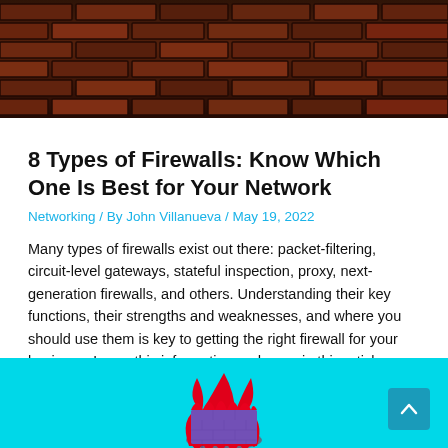[Figure (photo): Brick wall texture background image, dark red/brown bricks]
8 Types of Firewalls: Know Which One Is Best for Your Network
Networking / By John Villanueva / May 19, 2022
Many types of firewalls exist out there: packet-filtering, circuit-level gateways, stateful inspection, proxy, next-generation firewalls, and others. Understanding their key functions, their strengths and weaknesses, and where you should use them is key to getting the right firewall for your business. Learn this information and more in this article.
[Figure (illustration): Cyan/turquoise banner with a purple brick wall on fire (red flames) illustration, scroll-to-top button in teal]